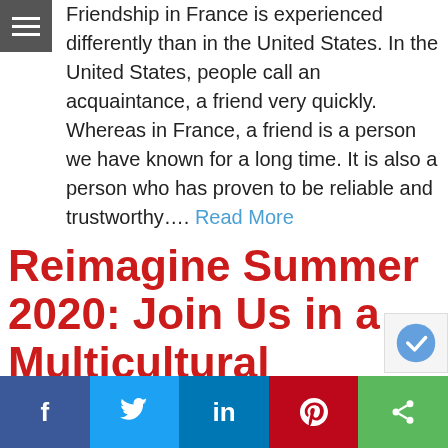Menu icon / navigation toggle
Friendship in France is experienced differently than in the United States. In the United States, people call an acquaintance, a friend very quickly. Whereas in France, a friend is a person we have known for a long time. It is also a person who has proven to be reliable and trustworthy…. Read More
Reimagine Summer 2020: Join Us in a Multicultural Challenge
f  (Twitter bird)  in  (Pinterest)  (Share)